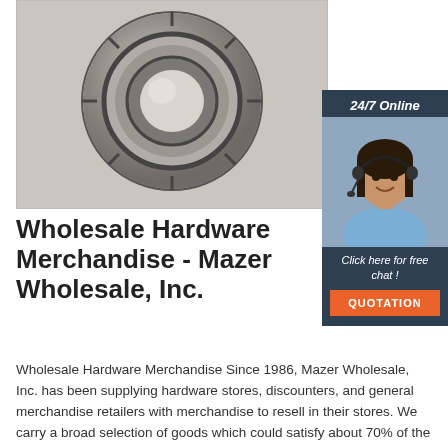[Figure (photo): Close-up top-down photograph of a metal ball bearing/bearing ring on a light gray background]
[Figure (infographic): 24/7 Online chat widget with a smiling woman wearing a headset, dark navy background, text 'Click here for free chat!' and an orange QUOTATION button]
Wholesale Hardware Merchandise - Mazer Wholesale, Inc.
Wholesale Hardware Merchandise Since 1986, Mazer Wholesale, Inc. has been supplying hardware stores, discounters, and general merchandise retailers with merchandise to resell in their stores. We carry a broad selection of goods which could satisfy about 70% of the major